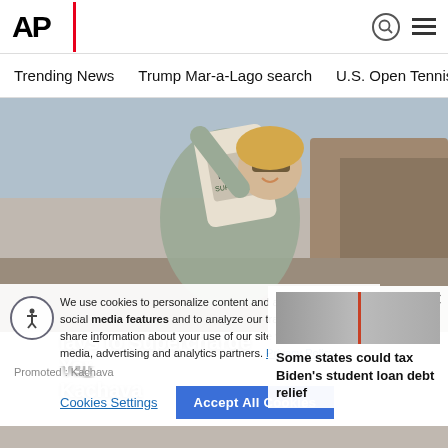[Figure (logo): AP (Associated Press) logo in black bold text with red underline bar]
Trending News   Trump Mar-a-Lago search   U.S. Open Tennis
[Figure (photo): Woman outdoors holding up a bag of Kachava product, smiling, wearing sunglasses, with rocky canyon landscape in background]
We use cookies to personalize content and ads, to provide social media features and to analyze our traffic. We also share information about your use of our site with our social media, advertising and analytics partners. Privacy Policy
Cookies Settings   Accept All Cookies
lays to Supercharge Your Kachava
Promoted : Kachava
Some states could tax Biden's student loan debt relief